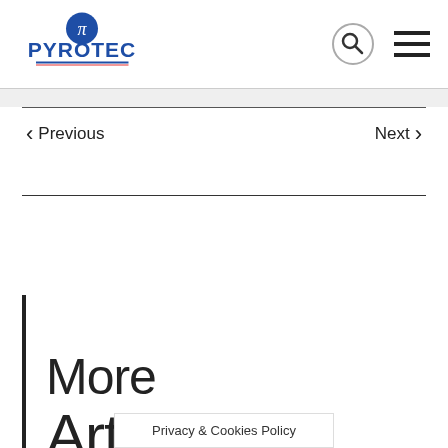[Figure (logo): Pyrotec logo with pi symbol and blue text]
< Previous
Next >
More Articles
Privacy & Cookies Policy